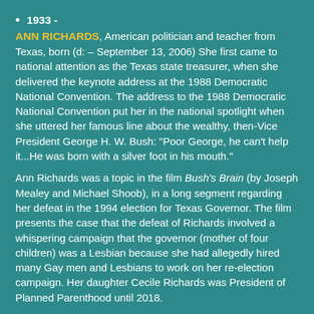1933 -
ANN RICHARDS, American politician and teacher from Texas, born (d: – September 13, 2006) She first came to national attention as the Texas state treasurer, when she delivered the keynote address at the 1988 Democratic National Convention. The address to the 1988 Democratic National Convention put her in the national spotlight when she uttered her famous line about the wealthy, then-Vice President George H. W. Bush: "Poor George, he can't help it...He was born with a silver foot in his mouth."
Ann Richards was a topic in the film Bush's Brain (by Joseph Mealey and Michael Shoob), in a long segment regarding her defeat in the 1994 election for Texas Governor. The film presents the case that the defeat of Richards involved a whispering campaign that the governor (mother of four children) was a Lesbian because she had allegedly hired many Gay men and Lesbians to work on her re-election campaign. Her daughter Cecile Richards was President of Planned Parenthood until 2018.
1939 -
LILY TOMLIN, American actress and comedian was born on this date; Though Tomlin has now long-since confirmed that she is a Lesbian, in the press, it was, for many years, an open secret among many, including the Gay press. Before she officially "came out", she was